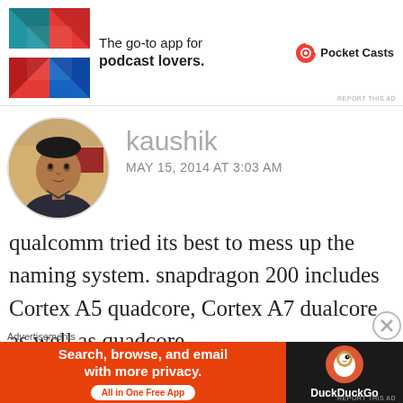[Figure (infographic): Top advertisement banner for Pocket Casts app - 'The go-to app for podcast lovers']
kaushik
MAY 15, 2014 AT 3:03 AM
[Figure (photo): Circular avatar photo of commenter kaushik]
qualcomm tried its best to mess up the naming system. snapdragon 200 includes Cortex A5 quadcore, Cortex A7 dualcore as well as quadcore. other than Nokia X which is powered by S4 Play (Cortex A5) all others have Snapdragon
Advertisements
[Figure (infographic): Bottom advertisement banner for DuckDuckGo - 'Search, browse, and email with more privacy. All in One Free App']